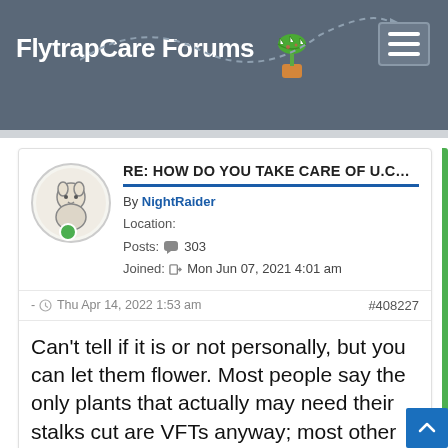FlytrapCare Forums
RE: HOW DO YOU TAKE CARE OF U.CALYCIFIDA?
By NightRaider
Location:
Posts: 303
Joined: Mon Jun 07, 2021 4:01 am
- Thu Apr 14, 2022 1:53 am   #408227
Can't tell if it is or not personally, but you can let them flower. Most people say the only plants that actually may need their stalks cut are VFTs anyway; most other plants aren't overly hindered by them.
TrapsAndDews liked this